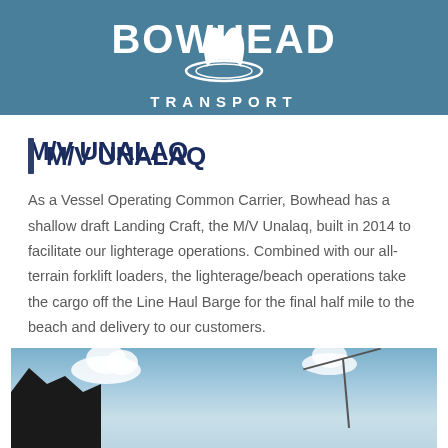[Figure (logo): Bowhead Transport logo — white stylized whale tail and water ripple graphic above the text BOWHEAD in large white letters, with TRANSPORT in spaced capitals below, on a steel blue background banner]
M/V UNALAQ
As a Vessel Operating Common Carrier, Bowhead has a shallow draft Landing Craft, the M/V Unalaq, built in 2014 to facilitate our lighterage operations. Combined with our all-terrain forklift loaders, the lighterage/beach operations take the cargo off the Line Haul Barge for the final half mile to the beach and delivery to our customers.
[Figure (photo): Outdoor photograph showing a blue sky with white clouds, a dark angular structure or building roof on the left, and what appears to be a crane or mast structure on the right side]